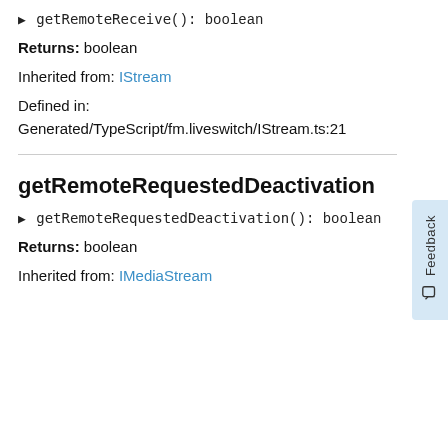▶ getRemoteReceive(): boolean
Returns: boolean
Inherited from: IStream
Defined in: Generated/TypeScript/fm.liveswitch/IStream.ts:21
getRemoteRequestedDeactivation
▶ getRemoteRequestedDeactivation(): boolean
Returns: boolean
Inherited from: IMediaStream